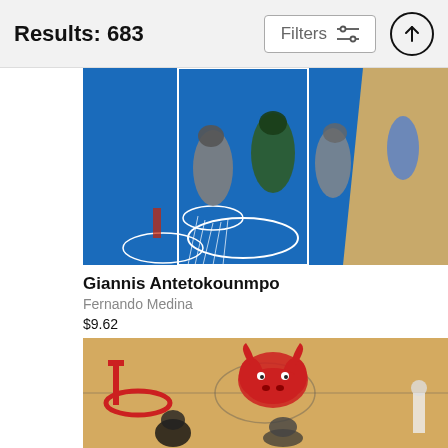Results: 683
Filters
[Figure (photo): Aerial/top-down view of NBA basketball game showing players under the basket, with blue court, white lane markings, and basketball net visible. Players in green (Milwaukee Bucks) and silver/white uniforms.]
Giannis Antetokounmpo
Fernando Medina
$9.62
[Figure (photo): Aerial/top-down view of NBA basketball game at Chicago Bulls arena showing the Bulls logo on the hardwood court, red basketball hoop/backboard, and players underneath the basket.]